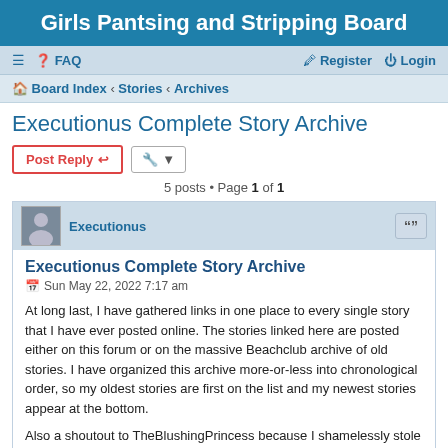Girls Pantsing and Stripping Board
≡  ❓ FAQ    Register  Login
Board Index › Stories › Archives
Executionus Complete Story Archive
Post Reply   [tools]
5 posts • Page 1 of 1
Executionus
Executionus Complete Story Archive
Sun May 22, 2022 7:17 am
At long last, I have gathered links in one place to every single story that I have ever posted online. The stories linked here are posted either on this forum or on the massive Beachclub archive of old stories. I have organized this archive more-or-less into chronological order, so my oldest stories are first on the list and my newest stories appear at the bottom.
Also a shoutout to TheBlushingPrincess because I shamelessly stole her archive formatting style for my own usage.